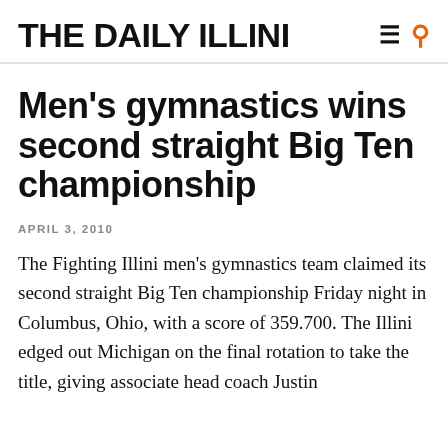THE DAILY ILLINI
Men's gymnastics wins second straight Big Ten championship
APRIL 3, 2010
The Fighting Illini men's gymnastics team claimed its second straight Big Ten championship Friday night in Columbus, Ohio, with a score of 359.700. The Illini edged out Michigan on the final rotation to take the title, giving associate head coach Justin